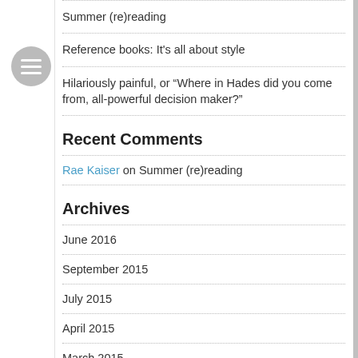Summer (re)reading
Reference books: It's all about style
Hilariously painful, or “Where in Hades did you come from, all-powerful decision maker?”
Recent Comments
Rae Kaiser on Summer (re)reading
Archives
June 2016
September 2015
July 2015
April 2015
March 2015